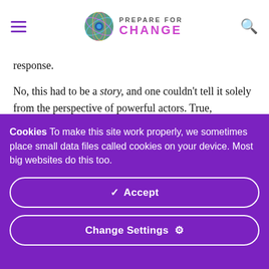PREPARE FOR CHANGE
response.
No, this had to be a story, and one couldn't tell it solely from the perspective of powerful actors. True, politicians and planters and bankers shaped policies, the movement of people, and the growing and selling of cotton, and even remade the land itself. But when one takes Lorena, he's
Cookies To make this site work properly, we sometimes place small data files called cookies on your device. Most big websites do this too.
Accept
Change Settings